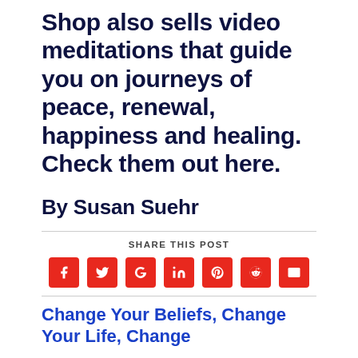Shop also sells video meditations that guide you on journeys of peace, renewal, happiness and healing. Check them out here.
By Susan Suehr
SHARE THIS POST
[Figure (infographic): Social sharing icons: Facebook, Twitter, Google+, LinkedIn, Pinterest, Reddit, Email — all red rounded square buttons with white icons]
Change Your Beliefs, Change Your Life, Change